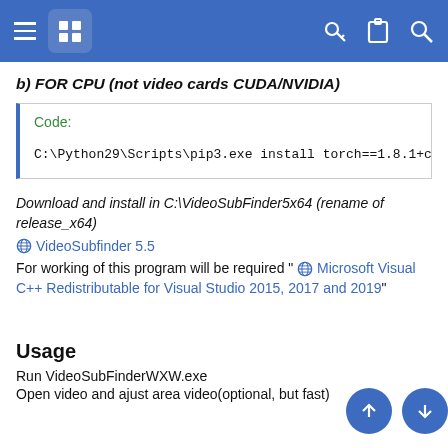Navigation bar with hamburger menu, logo, and icons
b) FOR CPU (not video cards CUDA/NVIDIA)
Code:
C:\Python29\Scripts\pip3.exe install torch==1.8.1+cpu
Download and install in C:\VideoSubFinder5x64 (rename of release_x64)
VideoSubfinder 5.5
For working of this program will be required " Microsoft Visual C++ Redistributable for Visual Studio 2015, 2017 and 2019"
Usage
Run VideoSubFinderWXW.exe
Open video and ajust area video(optional, but fast)